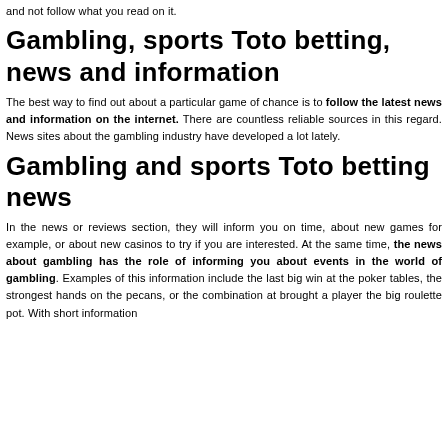and not follow what you read on it.
Gambling, sports Toto betting, news and information
The best way to find out about a particular game of chance is to follow the latest news and information on the internet. There are countless reliable sources in this regard. News sites about the gambling industry have developed a lot lately.
Gambling and sports Toto betting news
In the news or reviews section, they will inform you on time, about new games for example, or about new casinos to try if you are interested. At the same time, the news about gambling has the role of informing you about events in the world of gambling. Examples of this information include the last big win at the poker tables, the strongest hands on the pecans, or the combination that brought a player the big roulette pot. With short information